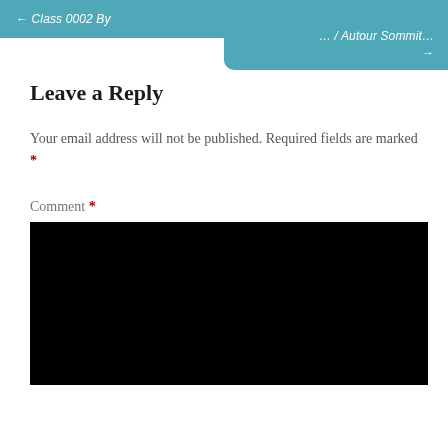← [prev] [nav left]    [nav right] →
Leave a Reply
Your email address will not be published. Required fields are marked *
Comment *
[Figure (other): Black comment text area input box]